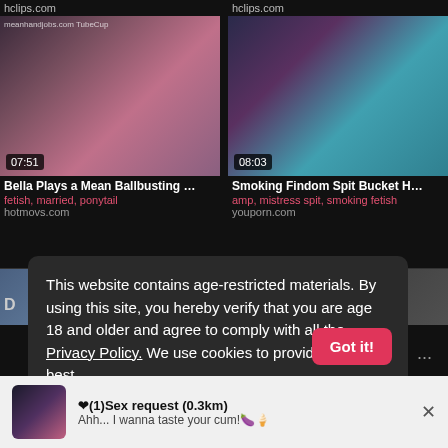[Figure (screenshot): Video thumbnail left: blurred fetish video still, duration 07:51]
[Figure (screenshot): Video thumbnail right: blurred adult video still, duration 08:03]
Bella Plays a Mean Ballbusting …
fetish, married, ponytail
hotmovs.com
Smoking Findom Spit Bucket H…
amp, mistress spit, smoking fetish
youporn.com
This website contains age-restricted materials. By using this site, you hereby verify that you are age 18 and older and agree to comply with all the Privacy Policy. We use cookies to provide you the best
❤(1)Sex request (0.3km)
Ahh... I wanna taste your cum!🍆🍦